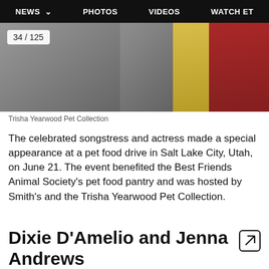NEWS  PHOTOS  VIDEOS  WATCH ET
[Figure (photo): Trisha Yearwood at pet food drive, standing near red and yellow pet food bags, wearing a black top. Counter showing 34/125.]
Trisha Yearwood Pet Collection
The celebrated songstress and actress made a special appearance at a pet food drive in Salt Lake City, Utah, on June 21. The event benefited the Best Friends Animal Society's pet food pantry and was hosted by Smith's and the Trisha Yearwood Pet Collection.
Dixie D'Amelio and Jenna Andrews